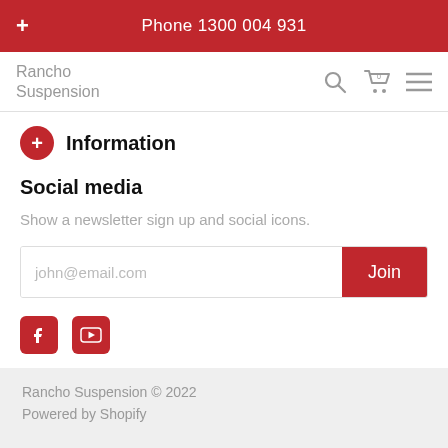Phone 1300 004 931
Rancho Suspension
Information
Social media
Show a newsletter sign up and social icons.
john@email.com | Join
[Figure (logo): Facebook and YouTube social media icons in red]
Rancho Suspension © 2022
Powered by Shopify